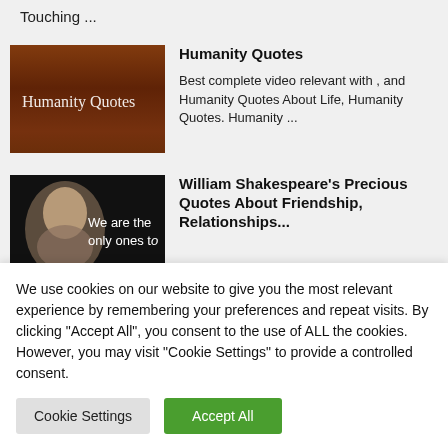Touching ...
[Figure (screenshot): Thumbnail image with brown wooden texture background and white text reading 'Humanity Quotes']
Humanity Quotes
Best complete video relevant with , and Humanity Quotes About Life, Humanity Quotes. Humanity ...
[Figure (screenshot): Thumbnail image showing a portrait of William Shakespeare on black background with white text 'We are the only ones to']
William Shakespeare's Precious Quotes About Friendship, Relationships ...
We use cookies on our website to give you the most relevant experience by remembering your preferences and repeat visits. By clicking "Accept All", you consent to the use of ALL the cookies. However, you may visit "Cookie Settings" to provide a controlled consent.